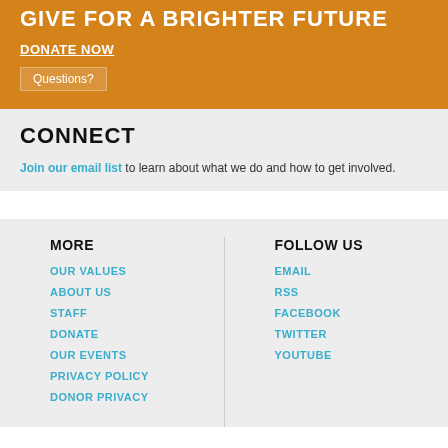GIVE FOR A BRIGHTER FUTURE
DONATE NOW
Questions?
CONNECT
Join our email list to learn about what we do and how to get involved.
MORE
OUR VALUES
ABOUT US
STAFF
DONATE
OUR EVENTS
PRIVACY POLICY
DONOR PRIVACY
FOLLOW US
EMAIL
RSS
FACEBOOK
TWITTER
YOUTUBE